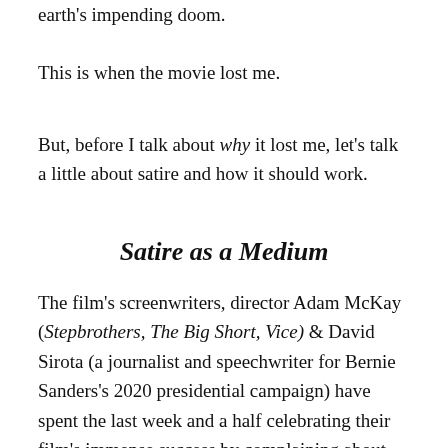earth's impending doom.
This is when the movie lost me.
But, before I talk about why it lost me, let's talk a little about satire and how it should work.
Satire as a Medium
The film's screenwriters, director Adam McKay (Stepbrothers, The Big Short, Vice) & David Sirota (a journalist and speechwriter for Bernie Sanders's 2020 presidential campaign) have spent the last week and a half celebrating their film's immense success by complaining about critics who found fault with the film, suggesting that they are akin to climate deniers.